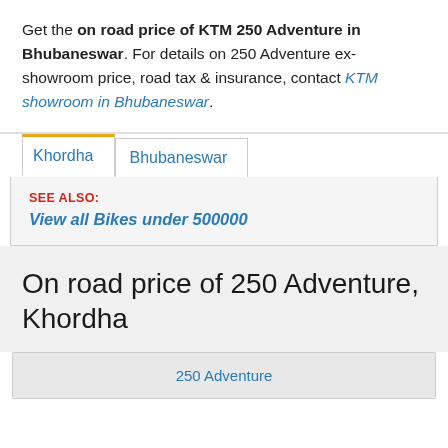Get the on road price of KTM 250 Adventure in Bhubaneswar. For details on 250 Adventure ex-showroom price, road tax & insurance, contact KTM showroom in Bhubaneswar.
SEE ALSO: View all Bikes under 500000
On road price of 250 Adventure, Khordha
| 250 Adventure |
| --- |